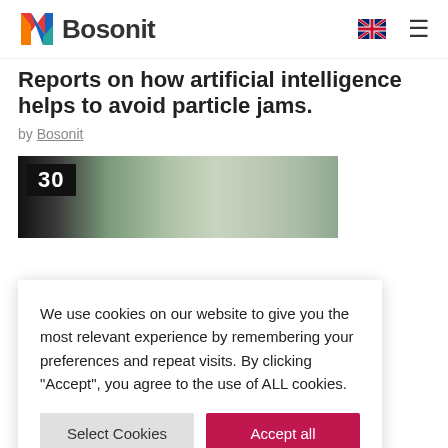Bosonit
Reports on how artificial intelligence helps to avoid particle jams.
by Bosonit
[Figure (photo): A room with flags visible, number 30 shown in top left corner on dark background]
We use cookies on our website to give you the most relevant experience by remembering your preferences and repeat visits. By clicking "Accept", you agree to the use of ALL cookies.
Select Cookies | Accept all
Rota City to promote technological innovation projects and the